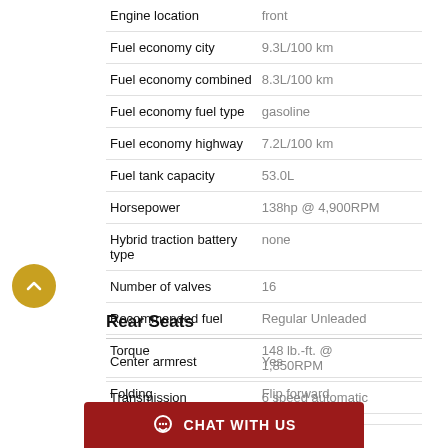| Specification | Value |
| --- | --- |
| Engine location | front |
| Fuel economy city | 9.3L/100 km |
| Fuel economy combined | 8.3L/100 km |
| Fuel economy fuel type | gasoline |
| Fuel economy highway | 7.2L/100 km |
| Fuel tank capacity | 53.0L |
| Horsepower | 138hp @ 4,900RPM |
| Hybrid traction battery type | none |
| Number of valves | 16 |
| Recommended fuel | Regular Unleaded |
| Torque | 148 lb.-ft. @ 1,850RPM |
| Transmission | 6 speed automatic |
Rear Seats
| Specification | Value |
| --- | --- |
| Center armrest | Yes |
| Folding | Flip forward cushion/seatback |
| Type | bench |